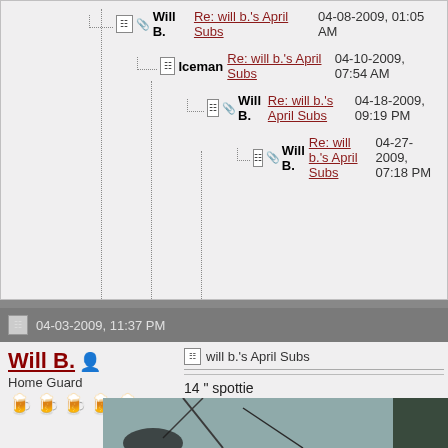Will B. Re: will b.'s April Subs 04-08-2009, 01:05 AM
Iceman Re: will b.'s April Subs 04-10-2009, 07:54 AM
Will B. Re: will b.'s April Subs 04-18-2009, 09:19 PM
Will B. Re: will b.'s April Subs 04-27-2009, 07:18 PM
04-03-2009, 11:37 PM
Will B. Home Guard
will b.'s April Subs
14 " spottie
Attached Images
[Figure (photo): Photo of a spottie fish, approximately 14 inches, shown from above on what appears to be a surface, partially cropped]